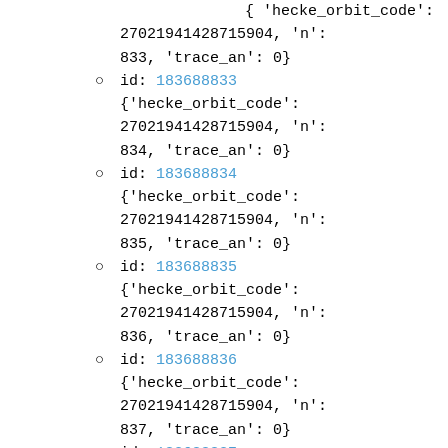{ 'hecke_orbit_code': 27021941428715904, 'n': 833, 'trace_an': 0}
id: 183688833 {'hecke_orbit_code': 27021941428715904, 'n': 834, 'trace_an': 0}
id: 183688834 {'hecke_orbit_code': 27021941428715904, 'n': 835, 'trace_an': 0}
id: 183688835 {'hecke_orbit_code': 27021941428715904, 'n': 836, 'trace_an': 0}
id: 183688836 {'hecke_orbit_code': 27021941428715904, 'n': 837, 'trace_an': 0}
id: 183688837 {'hecke_orbit_code':